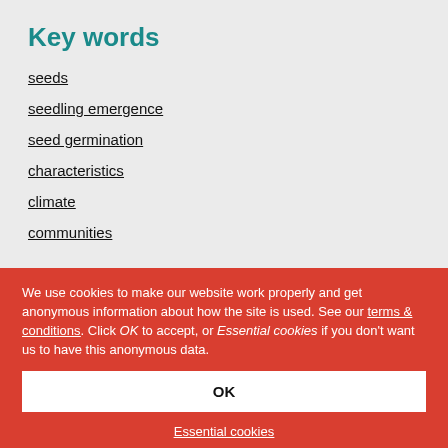Key words
seeds
seedling emergence
seed germination
characteristics
climate
communities
We use cookies to make our website work properly and get anonymous information about how the site is used. See our terms & conditions. Click OK to accept, or Essential cookies if you don't want us to have this anonymous data.
OK
Essential cookies